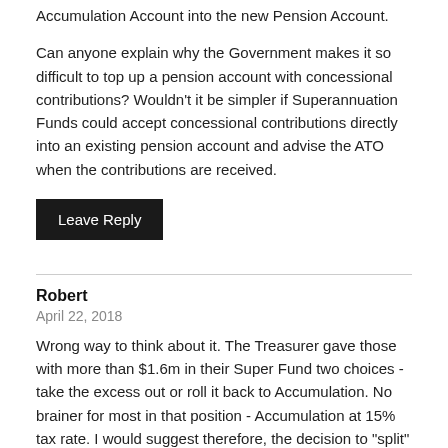Accumulation Account into the new Pension Account.
Can anyone explain why the Government makes it so difficult to top up a pension account with concessional contributions? Wouldn't it be simpler if Superannuation Funds could accept concessional contributions directly into an existing pension account and advise the ATO when the contributions are received.
Leave Reply
Robert
April 22, 2018
Wrong way to think about it. The Treasurer gave those with more than $1.6m in their Super Fund two choices - take the excess out or roll it back to Accumulation. No brainer for most in that position - Accumulation at 15% tax rate. I would suggest therefore, the decision to "split" a fund into "Pension" and "Accumulation" accounts was, in effect, the Treasurers
The next decision is whether to establish the new account within an existing SMSF or establish a new, additional, SMSF - again in my view, a no brainer. Total clarity as to what is in each account, the